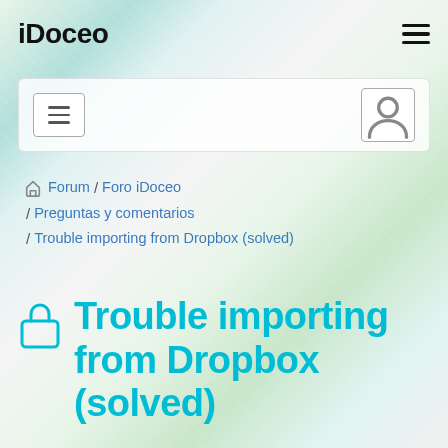iDoceo
Forum / Foro iDoceo / Preguntas y comentarios / Trouble importing from Dropbox (solved)
Trouble importing from Dropbox (solved)